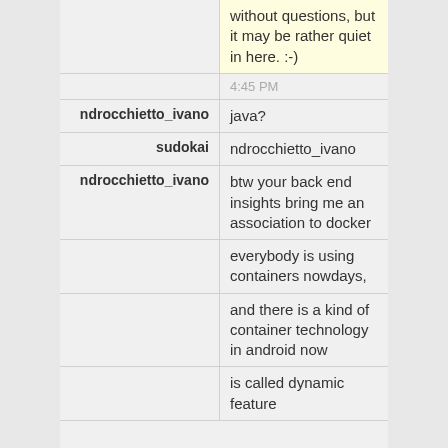without questions, but it may be rather quiet in here. :-)
4:45 PM
ndrocchietto_ivano: java?
sudokai: ndrocchietto_ivano
ndrocchietto_ivano: btw your back end insights bring me an association to docker
everybody is using containers nowdays,
and there is a kind of container technology in android now
is called dynamic feature